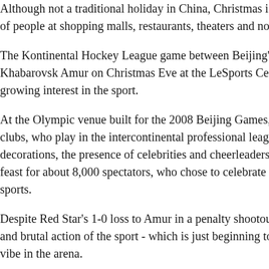Although not a traditional holiday in China, Christmas is celebrated by crowds of people at shopping malls, restaurants, theaters and now spo...
The Kontinental Hockey League game between Beijing's Kun... Khabarovsk Amur on Christmas Eve at the LeSports Center in... growing interest in the sport.
At the Olympic venue built for the 2008 Beijing Games, the fi... clubs, who play in the intercontinental professional league, co... decorations, the presence of celebrities and cheerleaders in Sa... feast for about 8,000 spectators, who chose to celebrate the ad... sports.
Despite Red Star's 1-0 loss to Amur in a penalty shootout, fans... and brutal action of the sport - which is just beginning to be pr... vibe in the arena.
"The game itself is very exciting already. The festive atmosph... were even more entertaining. We really enjoy the experience t...